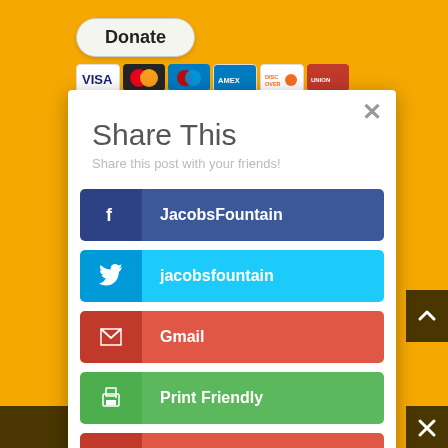[Figure (screenshot): Donate button with payment card icons (Visa, Mastercard, Maestro, Amex, Discover, UnionPay) on yellow background]
Share This
Share this post with your friends!
JacobsFountain (Facebook)
jacobsfountain (Twitter)
Gmail
Print Friendly
Like